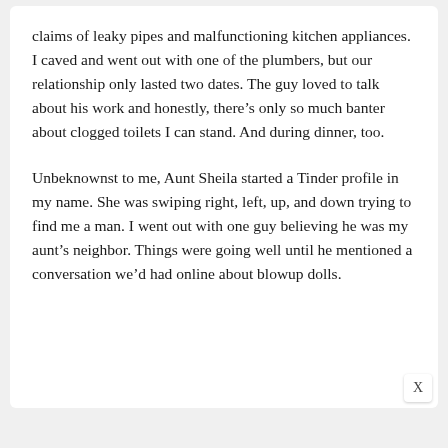claims of leaky pipes and malfunctioning kitchen appliances. I caved and went out with one of the plumbers, but our relationship only lasted two dates. The guy loved to talk about his work and honestly, there’s only so much banter about clogged toilets I can stand. And during dinner, too.
Unbeknownst to me, Aunt Sheila started a Tinder profile in my name. She was swiping right, left, up, and down trying to find me a man. I went out with one guy believing he was my aunt’s neighbor. Things were going well until he mentioned a conversation we’d had online about blowup dolls.